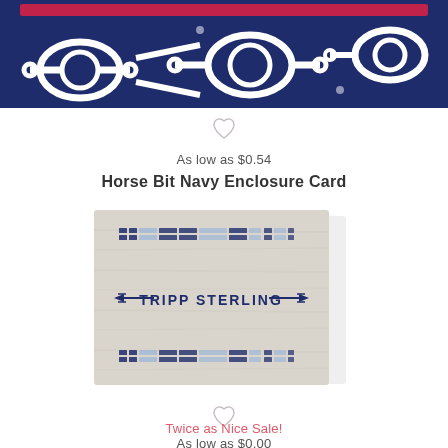[Figure (photo): Top portion of Horse Bit Navy product - navy blue and white horse bit pattern on card]
[Figure (illustration): Heart/favorite icon (outline heart shape, light gray)]
As low as $0.54
Horse Bit Navy Enclosure Card
[Figure (photo): Personalized enclosure card with light gray wood grain texture background, decorative navy blue cross-stitch border patterns at top and bottom, arrow decorations, and text 'TRIPP STERLING' in bold navy]
[Figure (illustration): Heart/favorite icon (outline heart shape, light gray)]
Twice as Nice Sale!
As low as $0.00